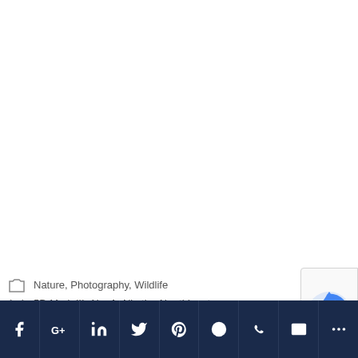Nature, Photography, Wildlife
5D Mark III, Abrofo Nkatie, Akruthi, ant
[Figure (other): Social media share bar with icons for Facebook, Google+, LinkedIn, Twitter, Pinterest, Reddit, WhatsApp, Email, and More options]
[Figure (other): reCAPTCHA badge partial view]